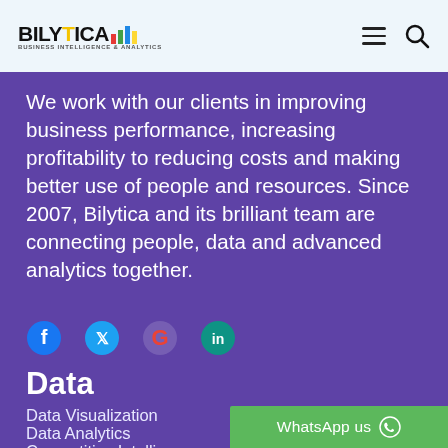BILYTICA BUSINESS INTELLIGENCE & ANALYTICS
We work with our clients in improving business performance, increasing profitability to reducing costs and making better use of people and resources. Since 2007, Bilytica and its brilliant team are connecting people, data and advanced analytics together.
[Figure (illustration): Social media icons row: Facebook (blue), Twitter (blue), Google (red/blue/yellow), LinkedIn (teal)]
Data
Data Visualization
Data Analytics
Competitive Intelligence
WhatsApp us